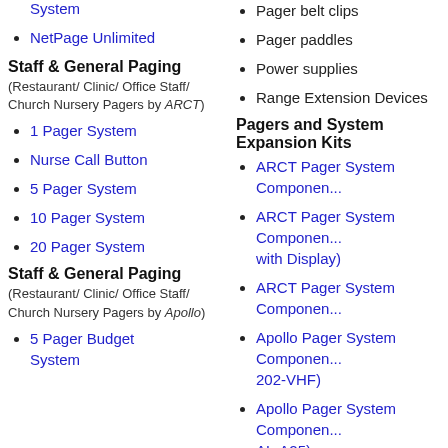System
NetPage Unlimited
Staff & General Paging
(Restaurant/ Clinic/ Office Staff/ Church Nursery Pagers by ARCT)
1 Pager System
Nurse Call Button
5 Pager System
10 Pager System
20 Pager System
Staff & General Paging
(Restaurant/ Clinic/ Office Staff/ Church Nursery Pagers by Apollo)
5 Pager Budget System
Pager belt clips
Pager paddles
Power supplies
Range Extension Devices
Pagers and System Expansion Kits
ARCT Pager System Componen...
ARCT Pager System Componen... with Display)
ARCT Pager System Componen...
Apollo Pager System Componen... 202-VHF)
Apollo Pager System Componen... AL-A25)
Apollo Pager System Componen... XP A27)
Apollo Pager System Componen... AP-700)
Transmitters
ARCT Pager System Componen...